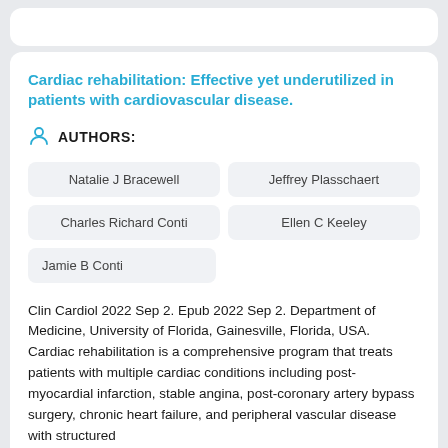Cardiac rehabilitation: Effective yet underutilized in patients with cardiovascular disease.
AUTHORS:
Natalie J Bracewell
Jeffrey Plasschaert
Charles Richard Conti
Ellen C Keeley
Jamie B Conti
Clin Cardiol 2022 Sep 2. Epub 2022 Sep 2. Department of Medicine, University of Florida, Gainesville, Florida, USA. Cardiac rehabilitation is a comprehensive program that treats patients with multiple cardiac conditions including post-myocardial infarction, stable angina, post-coronary artery bypass surgery, chronic heart failure, and peripheral vascular disease with structured exercise, nutrition, risk factor, and cardio...